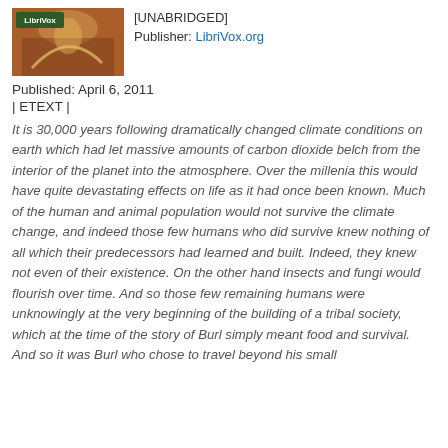[Figure (illustration): Book cover thumbnail with LibriVox label overlay, showing a fantasy/sci-fi illustration]
[UNABRIDGED]
Publisher: LibriVox.org
Published: April 6, 2011
| ETEXT |
It is 30,000 years following dramatically changed climate conditions on earth which had let massive amounts of carbon dioxide belch from the interior of the planet into the atmosphere. Over the millenia this would have quite devastating effects on life as it had once been known. Much of the human and animal population would not survive the climate change, and indeed those few humans who did survive knew nothing of all which their predecessors had learned and built. Indeed, they knew not even of their existence. On the other hand insects and fungi would flourish over time. And so those few remaining humans were unknowingly at the very beginning of the building of a tribal society, which at the time of the story of Burl simply meant food and survival. And so it was Burl who chose to travel beyond his small